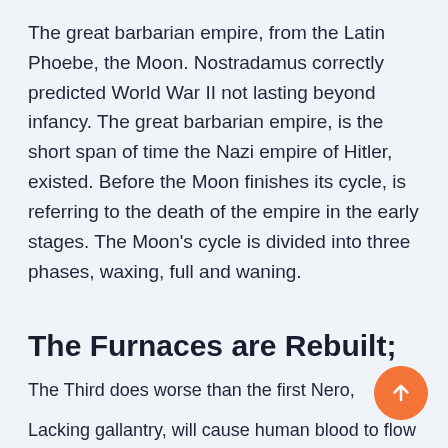The great barbarian empire, from the Latin Phoebe, the Moon. Nostradamus correctly predicted World War II not lasting beyond infancy. The great barbarian empire, is the short span of time the Nazi empire of Hitler, existed. Before the Moon finishes its cycle, is referring to the death of the empire in the early stages. The Moon's cycle is divided into three phases, waxing, full and waning.
The Furnaces are Rebuilt;
The Third does worse than the first Nero,
Lacking gallantry, will cause human blood to flow copiously.